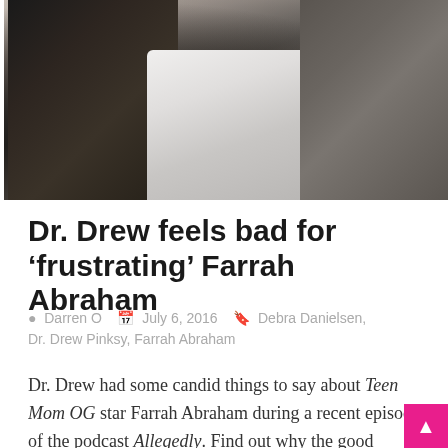[Figure (photo): A blurry TV screenshot showing two people on a white couch/chair in a studio setting. A person in black clothing is on the left, and a person in a grey suit is on the right.]
Dr. Drew feels bad for ‘frustrating’ Farrah Abraham
Darren O   July 6, 2016   Debra Danielsen, Dr. Drew Pinksy, Farrah Abraham
Dr. Drew had some candid things to say about Teen Mom OG star Farrah Abraham during a recent episode of the podcast Allegedly. Find out why the good doctor said that Farrah was the one star of the